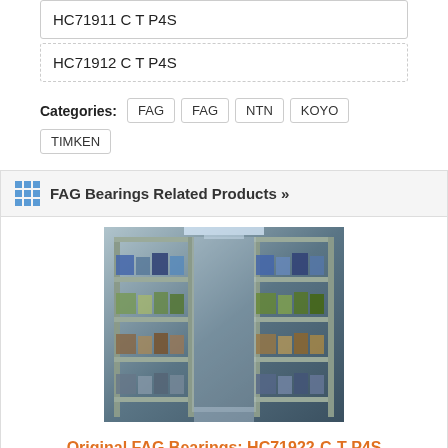HC71911 C T P4S
HC71912 C T P4S
Categories: FAG FAG NTN KOYO TIMKEN
FAG Bearings Related Products »
[Figure (photo): Warehouse shelves stocked with bearing products in a narrow aisle.]
Original FAG Bearings: HC71922-C-T-P4S
品牌:FAG, 型号HC71922-C-T-P4S, 基本参数:( d:110 mm, D:150mm, 　B:20 mm ) LYC23156 / W33轴承 23156 / W33轴承22256/LYC23156 / W33